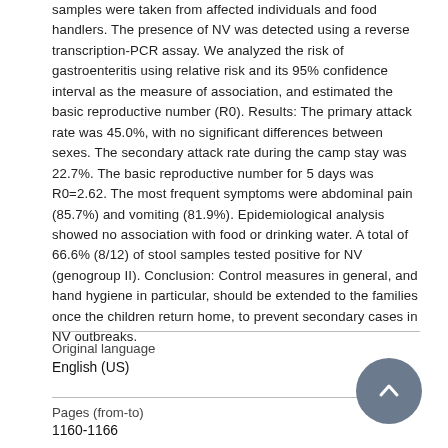samples were taken from affected individuals and food handlers. The presence of NV was detected using a reverse transcription-PCR assay. We analyzed the risk of gastroenteritis using relative risk and its 95% confidence interval as the measure of association, and estimated the basic reproductive number (R0). Results: The primary attack rate was 45.0%, with no significant differences between sexes. The secondary attack rate during the camp stay was 22.7%. The basic reproductive number for 5 days was R0=2.62. The most frequent symptoms were abdominal pain (85.7%) and vomiting (81.9%). Epidemiological analysis showed no association with food or drinking water. A total of 66.6% (8/12) of stool samples tested positive for NV (genogroup II). Conclusion: Control measures in general, and hand hygiene in particular, should be extended to the families once the children return home, to prevent secondary cases in NV outbreaks.
Original language
English (US)
Pages (from-to)
1160-1166